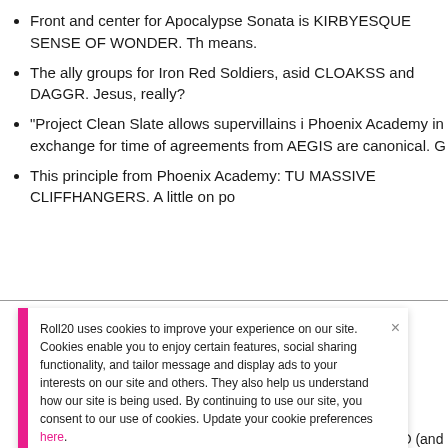Front and center for Apocalypse Sonata is KIRBYESQUE SENSE OF WONDER. Th means.
The ally groups for Iron Red Soldiers, asid CLOAKSS and DAGGR. Jesus, really?
"Project Clean Slate allows supervillains i Phoenix Academy in exchange for time of agreements from AEGIS are canonical. G
This principle from Phoenix Academy: TU MASSIVE CLIFFHANGERS. A little on po
Roll20 uses cookies to improve your experience on our site. Cookies enable you to enjoy certain features, social sharing functionality, and tailor message and display ads to your interests on our site and others. They also help us understand how our site is being used. By continuing to use our site, you consent to our use of cookies. Update your cookie preferences here.
acronyms that are both recognizable and not qu SHIELD and then SWORD (and I think at least